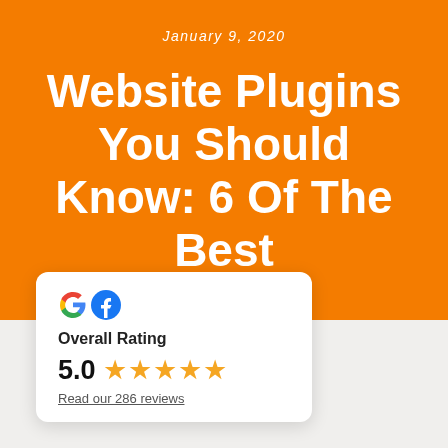January 9, 2020
Website Plugins You Should Know: 6 Of The Best
[Figure (infographic): White card widget showing Google and Facebook logos, Overall Rating label, score of 5.0 with 5 gold stars, and a link 'Read our 286 reviews']